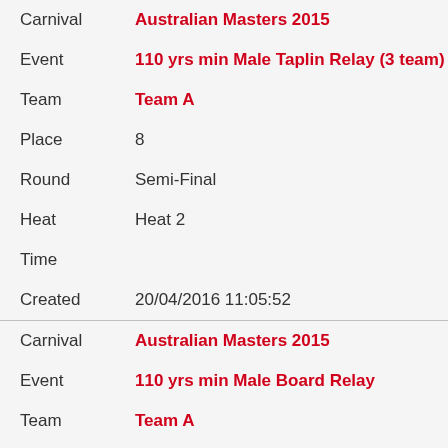| Field | Value |
| --- | --- |
| Carnival | Australian Masters 2015 |
| Event | 110 yrs min Male Taplin Relay (3 team) |
| Team | Team A |
| Place | 8 |
| Round | Semi-Final |
| Heat | Heat 2 |
| Time |  |
| Created | 20/04/2016 11:05:52 |
| Carnival | Australian Masters 2015 |
| Event | 110 yrs min Male Board Relay |
| Team | Team A |
| Place | 20 |
| Round | Grand Final |
| Heat | Heat 1 |